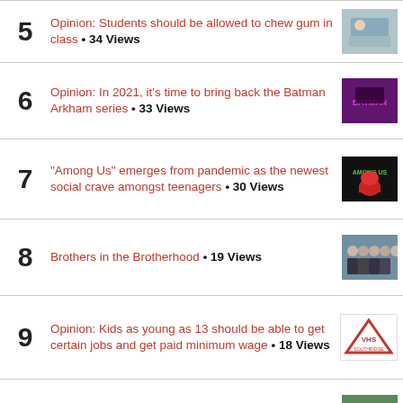5 Opinion: Students should be allowed to chew gum in class • 34 Views
6 Opinion: In 2021, it's time to bring back the Batman Arkham series • 33 Views
7 "Among Us" emerges from pandemic as the newest social crave amongst teenagers • 30 Views
8 Brothers in the Brotherhood • 19 Views
9 Opinion: Kids as young as 13 should be able to get certain jobs and get paid minimum wage • 18 Views
10 Despite multiple setbacks, Tonko Susac '21 has major-league aspirations • 14 Views